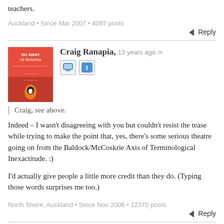teachers.
Auckland • Since Mar 2007 • 4097 posts
Reply
Craig Ranapia, 13 years ago ∞
Craig, see above.
Indeed – I wasn't disagreeing with you but couldn't resist the tease while trying to make the point that, yes, there's some serious theatre going on from the Baldock/McCoskrie Axis of Terminological Inexactitude. :)
I'd actually give people a little more credit than they do. (Typing those words surprises me too.)
North Shore, Auckland • Since Nov 2006 • 12370 posts
Reply
ScottY, 13 years ago ∞